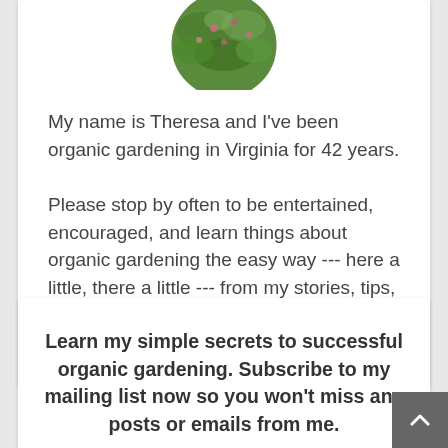[Figure (photo): Circular cropped photo of green garden plants with small pink/purple flowers]
My name is Theresa and I've been organic gardening in Virginia for 42 years.
Please stop by often to be entertained, encouraged, and learn things about organic gardening the easy way --- here a little, there a little --- from my stories, tips, anecdotes, experiences, and explanations.
Learn my simple secrets to successful organic gardening. Subscribe to my mailing list now so you won't miss any posts or emails from me.